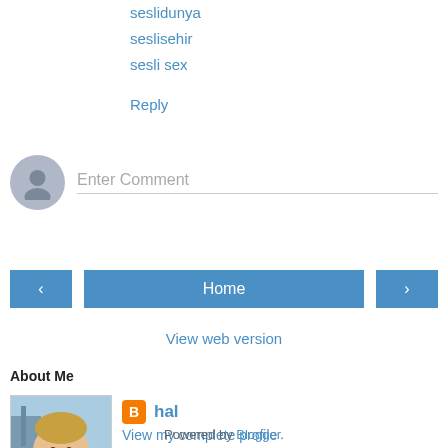seslidunya
seslisehir
sesli sex
Reply
Enter Comment
[Figure (other): Navigation buttons: left arrow, Home, right arrow]
View web version
About Me
[Figure (photo): Profile photo of hal - young man smiling outdoors]
hal
View my complete profile
Powered by Blogger.